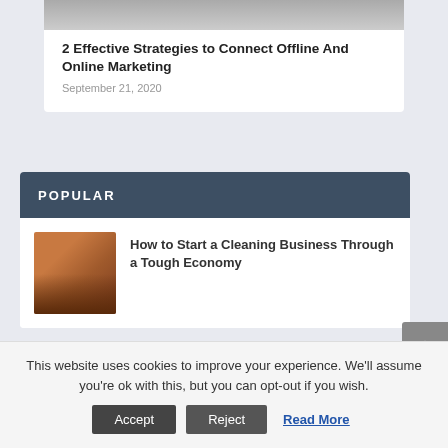[Figure (photo): Gradient gray image strip at top of article card]
2 Effective Strategies to Connect Offline And Online Marketing
September 21, 2020
POPULAR
[Figure (photo): Photo of a girl with yellow sunglasses holding a cleaning tool, warm brown tones]
How to Start a Cleaning Business Through a Tough Economy
This website uses cookies to improve your experience. We'll assume you're ok with this, but you can opt-out if you wish.
Accept   Reject   Read More